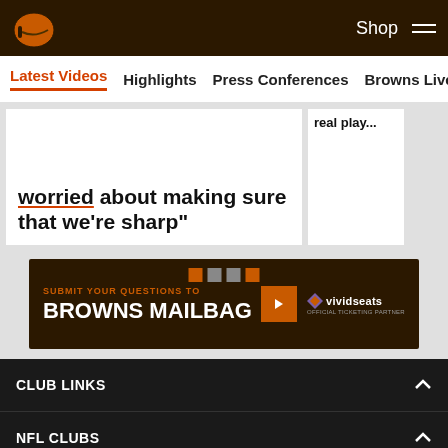Cleveland Browns website header with logo, Shop link, and hamburger menu
Latest Videos | Highlights | Press Conferences | Browns Live | Me
...worried about making sure that we're sharp"
[Figure (screenshot): Side video card with partial text 'real play...']
[Figure (infographic): Browns Mailbag advertisement banner: SUBMIT YOUR QUESTIONS TO BROWNS MAILBAG with Vivid Seats logo]
CLUB LINKS
NFL CLUBS
MORE NFL SITES
Download apps
[Figure (logo): Download on the App Store badge]
[Figure (logo): Get it on Google Play badge]